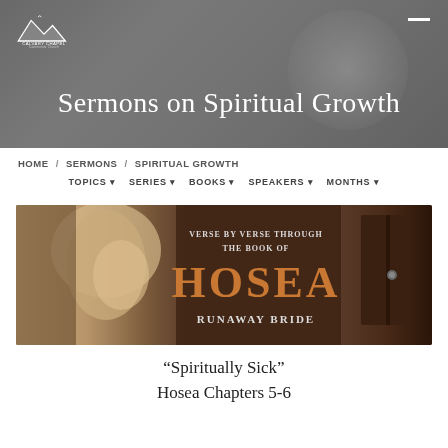Sermons on Spiritual Growth
HOME / SERMONS / SPIRITUAL GROWTH
TOPICS  SERIES  BOOKS  SPEAKERS  MONTHS
[Figure (photo): Book of Hosea - Runaway Bride sermon series banner with woman in head covering and text: Verse By Verse Through The Book Of HOSEA Runaway Bride]
“Spirituelly Sick” Hosea Chapters 5-6